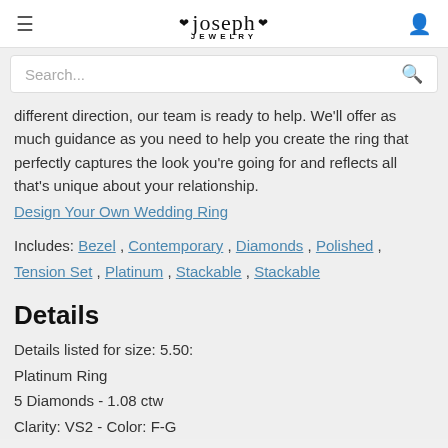Joseph Jewelry
different direction, our team is ready to help. We'll offer as much guidance as you need to help you create the ring that perfectly captures the look you're going for and reflects all that's unique about your relationship.
Design Your Own Wedding Ring
Includes: Bezel , Contemporary , Diamonds , Polished , Tension Set , Platinum , Stackable , Stackable
Details
Details listed for size: 5.50:
Platinum Ring
5 Diamonds - 1.08 ctw
Clarity: VS2 - Color: F-G